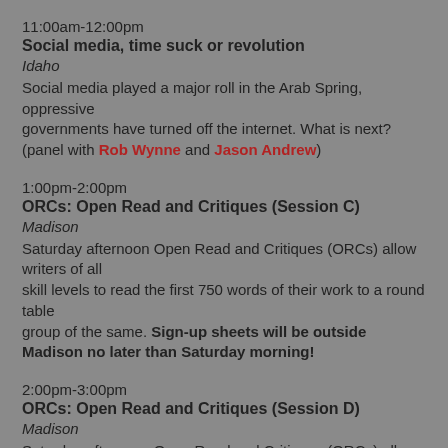11:00am-12:00pm
Social media, time suck or revolution
Idaho
Social media played a major roll in the Arab Spring, oppressive governments have turned off the internet. What is next? (panel with Rob Wynne and Jason Andrew)
1:00pm-2:00pm
ORCs: Open Read and Critiques (Session C)
Madison
Saturday afternoon Open Read and Critiques (ORCs) allow writers of all skill levels to read the first 750 words of their work to a round table group of the same. Sign-up sheets will be outside Madison no later than Saturday morning!
2:00pm-3:00pm
ORCs: Open Read and Critiques (Session D)
Madison
Saturday afternoon Open Read and Critiques (ORCs) allow